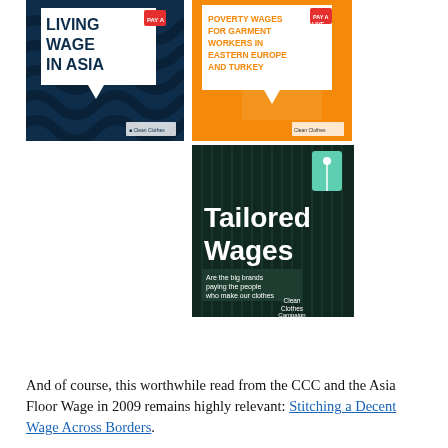[Figure (illustration): Two book covers side by side: left - 'Living Wage in Asia' with dark blue background and wave pattern; right - 'Poverty Wages for Garment Workers in Eastern Europe and Turkey' with orange background and geometric pattern. Both have a price tag logo.]
[Figure (illustration): Book cover: 'Tailored Wages' on dark green/teal background with vertical stripe pattern and a teal price tag. Subtitle: 'Are the big brands paying the people who make our clothes enough to live on?' Published by Clean Clothes Campaign.]
And of course, this worthwhile read from the CCC and the Asia Floor Wage in 2009 remains highly relevant: Stitching a Decent Wage Across Borders.